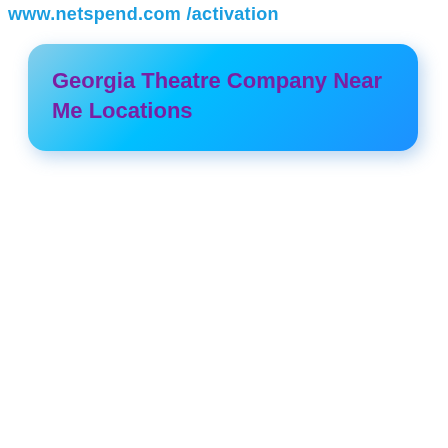www.netspend.com /activation
Georgia Theatre Company Near Me Locations